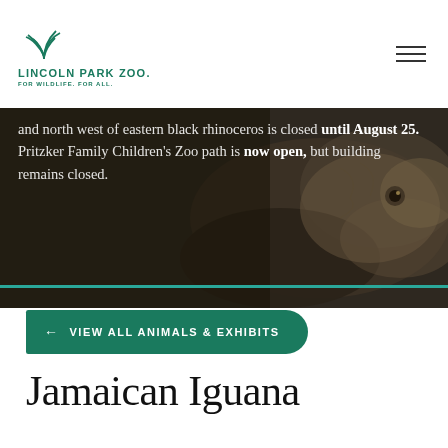Lincoln Park Zoo. For Wildlife. For All.
[Figure (photo): Close-up photo of an iguana or large reptile on a dark background, with overlaid white text about zoo closures]
and north west of eastern black rhinoceros is closed until August 25. Pritzker Family Children's Zoo path is now open, but building remains closed.
← VIEW ALL ANIMALS & EXHIBITS
Jamaican Iguana